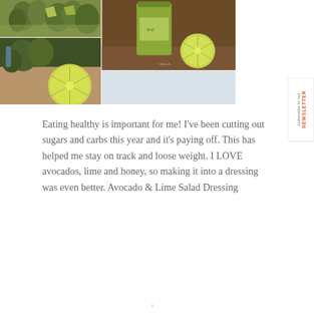[Figure (photo): Food photo collage showing artichokes and lime slices (top-left), avocado with lime on cutting board (bottom-left), green smoothie/dressing in mason jar with lime halves (right), and a light blue chevron pattern block (bottom-right)]
[Figure (infographic): Vertical sidebar button reading 'subscribe to our NEWSLETTER' in rotated text, with 'subscribe to our' in italic gray and 'NEWSLETTER' in bold orange uppercase]
Eating healthy is important for me! I've been cutting out sugars and carbs this year and it's paying off. This has helped me stay on track and loose weight. I LOVE avocados, lime and honey, so making it into a dressing was even better. Avocado & Lime Salad Dressing